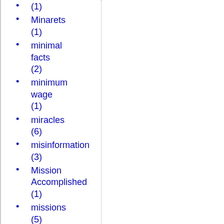(1)
Minarets (1)
minimal facts (2)
minimum wage (1)
miracles (6)
misinformation (3)
Mission Accomplished (1)
missions (5)
Moby Dick (1)
modern error (5)
Modern T...